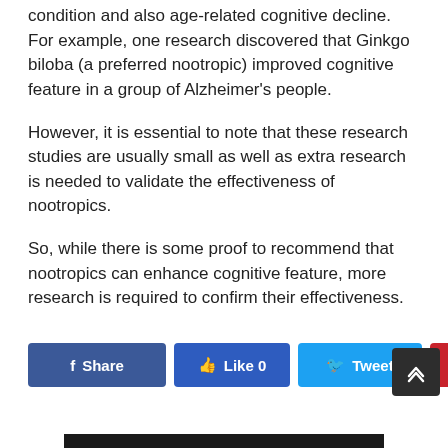condition and also age-related cognitive decline. For example, one research discovered that Ginkgo biloba (a preferred nootropic) improved cognitive feature in a group of Alzheimer's people.
However, it is essential to note that these research studies are usually small as well as extra research is needed to validate the effectiveness of nootropics.
So, while there is some proof to recommend that nootropics can enhance cognitive feature, more research is required to confirm their effectiveness.
[Figure (other): Social sharing buttons: Share (Facebook, dark blue), Like 0 (Facebook, medium blue), Tweet (Twitter, light blue), Pin it (Pinterest, red)]